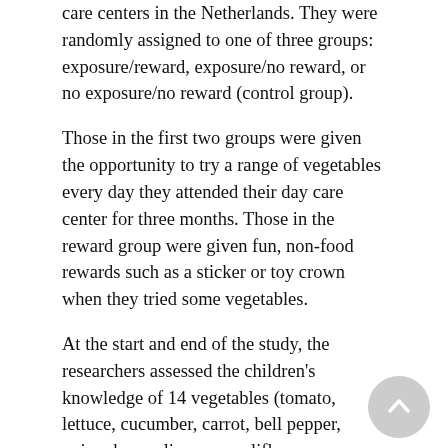care centers in the Netherlands. They were randomly assigned to one of three groups: exposure/reward, exposure/no reward, or no exposure/no reward (control group).
Those in the first two groups were given the opportunity to try a range of vegetables every day they attended their day care center for three months. Those in the reward group were given fun, non-food rewards such as a sticker or toy crown when they tried some vegetables.
At the start and end of the study, the researchers assessed the children's knowledge of 14 vegetables (tomato, lettuce, cucumber, carrot, bell pepper, onion, broccoli, peas, cauliflower, mushrooms, green beans, chicory, pumpkin and asparagus) and their willingness to taste six of them.
In both the exposure/reward and exposure/no reward groups, children could identify about 9 vegetables at the start of the study and about 11 at the end of the study, compared with about 8 and 10 in the control group.
At the start of the study, children in all three groups were